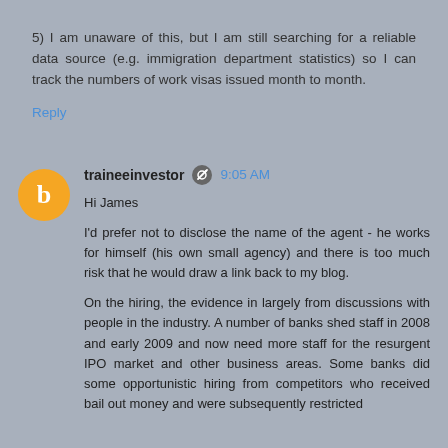5) I am unaware of this, but I am still searching for a reliable data source (e.g. immigration department statistics) so I can track the numbers of work visas issued month to month.
Reply
traineeinvestor  9:05 AM
Hi James
I'd prefer not to disclose the name of the agent - he works for himself (his own small agency) and there is too much risk that he would draw a link back to my blog.
On the hiring, the evidence in largely from discussions with people in the industry. A number of banks shed staff in 2008 and early 2009 and now need more staff for the resurgent IPO market and other business areas. Some banks did some opportunistic hiring from competitors who received bail out money and were subsequently restricted